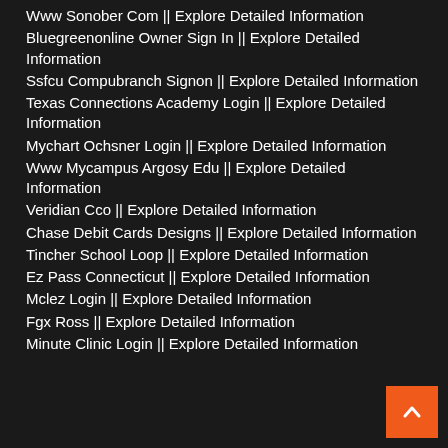Www Sonober Com || Explore Detailed Information
Bluegreenonline Owner Sign In || Explore Detailed Information
Ssfcu Compubranch Signon || Explore Detailed Information
Texas Connections Academy Login || Explore Detailed Information
Mychart Ochsner Login || Explore Detailed Information
Www Mycampus Argosy Edu || Explore Detailed Information
Veridian Cco || Explore Detailed Information
Chase Debit Cards Designs || Explore Detailed Information
Tincher School Loop || Explore Detailed Information
Ez Pass Connecticut || Explore Detailed Information
Mclez Login || Explore Detailed Information
Fgx Ross || Explore Detailed Information
Minute Clinic Login || Explore Detailed Information